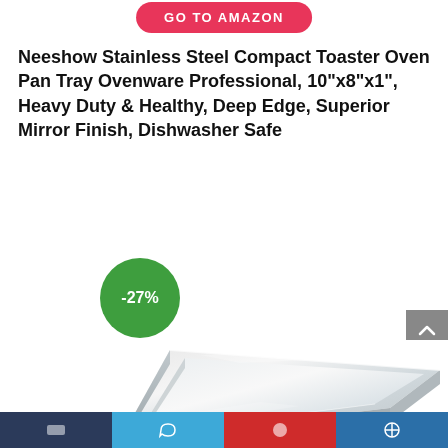[Figure (other): GO TO AMAZON button — red rounded rectangle with white bold uppercase text]
Neeshow Stainless Steel Compact Toaster Oven Pan Tray Ovenware Professional, 10"x8"x1", Heavy Duty & Healthy, Deep Edge, Superior Mirror Finish, Dishwasher Safe
[Figure (other): -27% discount badge — green circle with white text]
[Figure (photo): Product photo of a stainless steel rectangular baking/toaster oven pan tray with deep edges and mirror finish, photographed at an angle on white background]
[Figure (other): Bottom social sharing / navigation bar with dark blue, light blue, red, and medium blue segments and icons]